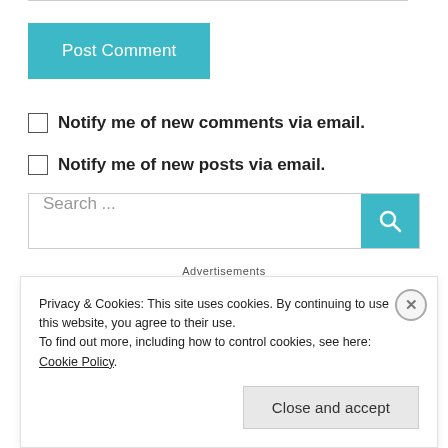Post Comment
Notify me of new comments via email.
Notify me of new posts via email.
Search ...
Advertisements
Privacy & Cookies: This site uses cookies. By continuing to use this website, you agree to their use. To find out more, including how to control cookies, see here: Cookie Policy
Close and accept